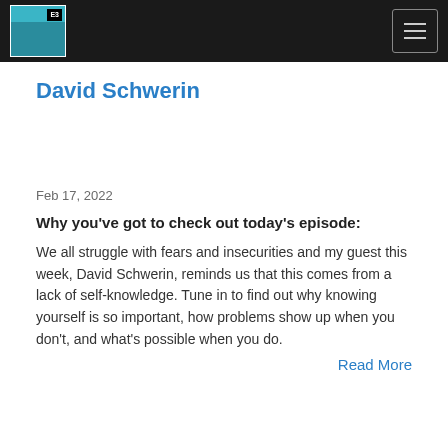E3 [logo] [hamburger menu]
David Schwerin
Feb 17, 2022
Why you've got to check out today's episode:
We all struggle with fears and insecurities and my guest this week, David Schwerin, reminds us that this comes from a lack of self-knowledge. Tune in to find out why knowing yourself is so important, how problems show up when you don't, and what's possible when you do.
Read More